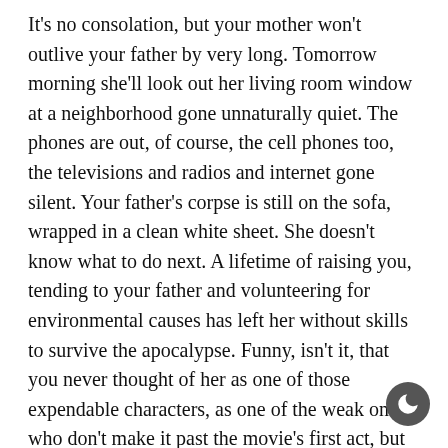It's no consolation, but your mother won't outlive your father by very long. Tomorrow morning she'll look out her living room window at a neighborhood gone unnaturally quiet. The phones are out, of course, the cell phones too, the televisions and radios and internet gone silent. Your father's corpse is still on the sofa, wrapped in a clean white sheet. She doesn't know what to do next. A lifetime of raising you, tending to your father and volunteering for environmental causes has left her without skills to survive the apocalypse. Funny, isn't it, that you never thought of her as one of those expendable characters, as one of the weak ones who don't make it past the movie's first act, but there you go. Nothing about this was expected.

Your mother decides that she can barely